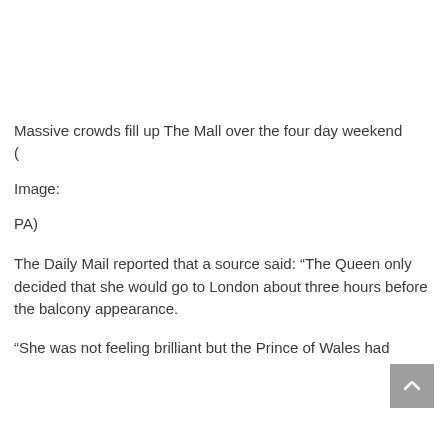Massive crowds fill up The Mall over the four day weekend
(
Image:
PA)
The Daily Mail reported that a source said: “The Queen only decided that she would go to London about three hours before the balcony appearance.
“She was not feeling brilliant but the Prince of Wales had